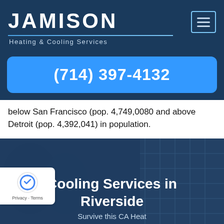[Figure (logo): Jamison Heating & Cooling Services logo with large white text on dark blue background, with a horizontal line underline and subtitle]
(714) 397-4132
below San Francisco (pop. 4,749,0080 and above Detroit (pop. 4,392,041) in population.
[Figure (photo): Dark blue banner background with building/trees silhouette showing 'Cooling Services in Riverside' heading and 'Survive this CA Heat' subtitle, with reCAPTCHA badge in bottom left]